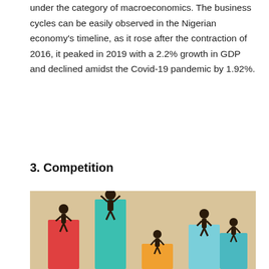under the category of macroeconomics. The business cycles can be easily observed in the Nigerian economy's timeline, as it rose after the contraction of 2016, it peaked in 2019 with a 2.2% growth in GDP and declined amidst the Covid-19 pandemic by 1.92%.
3. Competition
[Figure (illustration): Infographic illustration showing five businessman figures (stick figures in suits) standing on bars of different heights arranged in a podium-like competition layout. From left to right: a red bar (medium height) with a figure, a teal bar (tall) with an arms-raised winning figure on top, an orange bar (short) with a figure, a light blue bar (medium) with a figure, and a medium teal-blue bar with a figure. Background is a textured beige/tan color.]